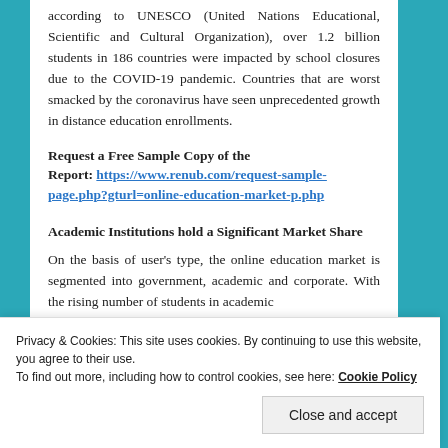according to UNESCO (United Nations Educational, Scientific and Cultural Organization), over 1.2 billion students in 186 countries were impacted by school closures due to the COVID-19 pandemic. Countries that are worst smacked by the coronavirus have seen unprecedented growth in distance education enrollments.
Request a Free Sample Copy of the Report: https://www.renub.com/request-sample-page.php?gturl=online-education-market-p.php
Academic Institutions hold a Significant Market Share
On the basis of user's type, the online education market is segmented into government, academic and corporate. With the rising number of students in academic
Privacy & Cookies: This site uses cookies. By continuing to use this website, you agree to their use.
To find out more, including how to control cookies, see here: Cookie Policy